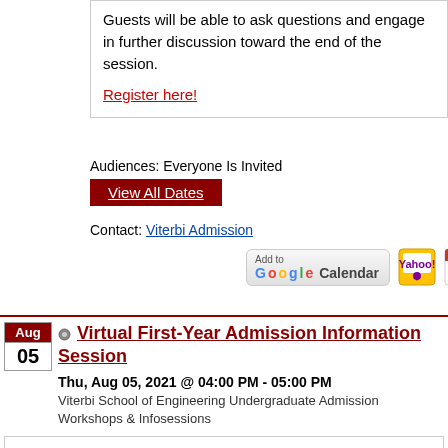Guests will be able to ask questions and engage in further discussion toward the end of the session.
Register here!
Audiences: Everyone Is Invited
View All Dates
Contact: Viterbi Admission
[Figure (screenshot): Add to Google Calendar button, Yahoo calendar icon, and iCal calendar icon]
Virtual First-Year Admission Information Session
Thu, Aug 05, 2021 @ 04:00 PM - 05:00 PM
Viterbi School of Engineering Undergraduate Admission Workshops & Infosessions
Our virtual information session is a live presentation from a USC Viterbi admission counselor designed for high school students and their family members to learn more about the USC Viterbi undergraduate experience. Our session will cover an overview of our undergraduate engineering programs, the application process, and more on student life. Guests will be able to ask questions and engage in further